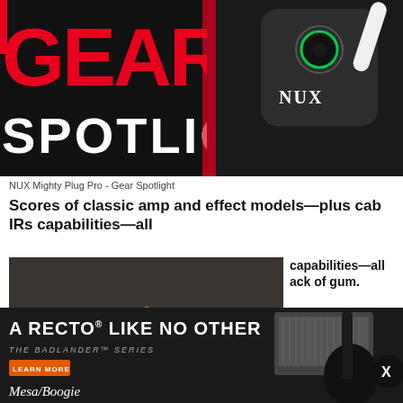[Figure (photo): Hero banner with red GEAR text and SPOTLIGHT text on black background, with NUX Mighty Plug Pro device on the right]
NUX Mighty Plug Pro - Gear Spotlight
Scores of classic amp and effect models—plus cab IRs capabilities—all ack of gum.
[Figure (photo): Video thumbnail showing guitarist playing electric guitar in a room with amplifiers, with play button overlay]
[Figure (infographic): Social sharing icons: Facebook, Twitter, Email]
[Figure (infographic): Advertisement banner for Mesa/Boogie Badlander Series amp: A RECTO LIKE NO OTHER - THE BADLANDER SERIES - LEARN MORE]